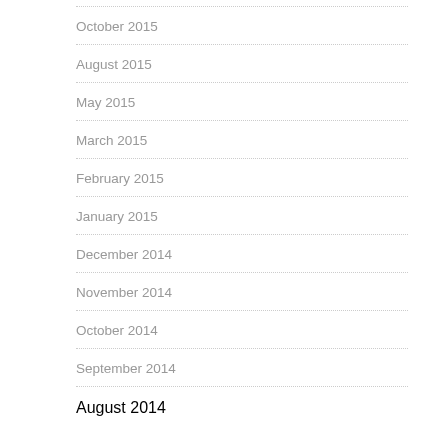October 2015
August 2015
May 2015
March 2015
February 2015
January 2015
December 2014
November 2014
October 2014
September 2014
August 2014